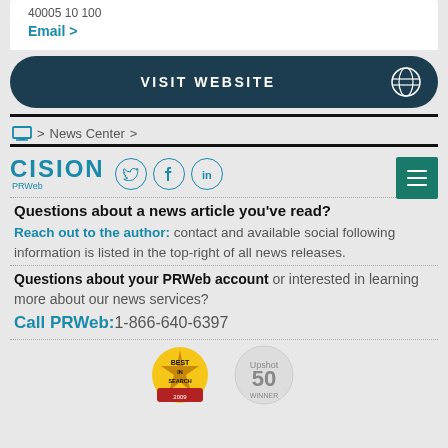Email >
VISIT WEBSITE
> News Center >
[Figure (logo): Cision PRWeb logo with social icons (Twitter, Facebook, LinkedIn) and hamburger menu button]
Questions about a news article you've read?
Reach out to the author: contact and available social following information is listed in the top-right of all news releases.
Questions about your PRWeb account or interested in learning more about our news services?
Call PRWeb: 1-866-640-6397
[Figure (logo): Best in Search badge and Upshot 50 award badge]